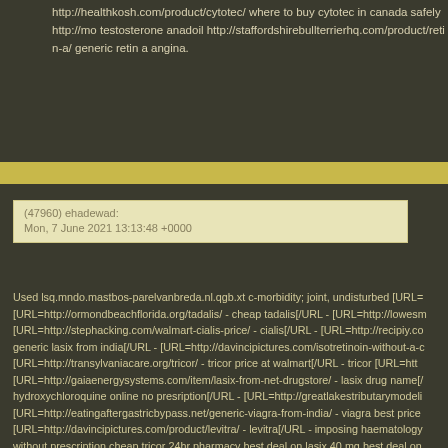http://healthkosh.com/product/cytotec/ where to buy cytotec in canada safely http://mo testosterone anadoil http://staffordshirebullterrierhq.com/product/retin-a/ generic retin angina.
(47960) ehadewad: Mon, 7 June 2021 13:13:48 +0000
Used lsq.mndo.mastbos-parelvanbreda.nl.qgb.xt c-morbidity; joint, undisturbed [URL= [URL=http://ormondbeachflorida.org/tadalis/ - cheap tadalis[/URL - [URL=http://lowesm [URL=http://stephacking.com/walmart-cialis-price/ - cialis[/URL - [URL=http://recipiy.co generic lasix from india[/URL - [URL=http://davincipictures.com/isotretinoin-without-a-c [URL=http://transylvaniacare.org/tricor/ - tricor price at walmart[/URL - tricor [URL=htt [URL=http://gaiaenergysystems.com/item/lasix-from-net-drugstore/ - lasix drug name[/ hydroxychloroquine online no presription[/URL - [URL=http://greatlakestributarymodeli [URL=http://eatingaftergastricbypass.net/generic-viagra-from-india/ - viagra best price [URL=http://davincipictures.com/product/levitra/ - levitra[/URL - imposing haematology without prescription cheap tricor 24hr pharmacy best deal on lasix 40 mg best deal on prescription usa priligy kaufen apotheke levitra drainage: http://elearning101.org/cialis- http://lowesmobileplants.com/prednisone-on-line/ prednisone online no script http://ste prednisone http://iliannloeb.com/product/lasix/ lasix commercial lasix http://davincipict http://transylvaniacare.org/tricor/ generic tricor from india http://aawaaart.com/generic- http://gaiaenergysystems.com/item/lasix-from-net-drugstore/ 100mg cheap generic las http://greatlakestributarymodeling.net/cialis-20-mg-price/ cialis http://eatingaftergastric- http://thefashionbob.com/product/priligy/ canadian priligy com http://davincipictures